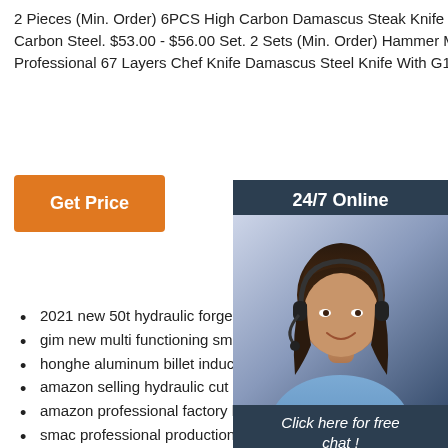2 Pieces (Min. Order) 6PCS High Carbon Damascus Steak Knife Set. Stainless Steel. High Carbon Steel. $53.00 - $56.00 Set. 2 Sets (Min. Order) Hammer Mirror 8.5 Inch Professional 67 Layers Chef Knife Damascus Steel Knife With G10 ...
[Figure (other): Orange 'Get Price' button]
[Figure (other): Sidebar widget with '24/7 Online' label, photo of female customer service agent wearing headset, 'Click here for free chat!' text, and orange QUOTATION button]
2021 new 50t hydraulic forge press accept oeu...
gim new multi functioning smith commercial so... power cage complete multy mutli function gym... machine
honghe aluminum billet induction forging furnace induction heating machine
amazon selling hydraulic cut punch upset draw press making iron lights forging
amazon professional factory hydraulic punch upset cut draw press forging metal machine
smac professional production quality air pneumatic
[Figure (other): Orange and red 'TOP' badge with dot decorations]